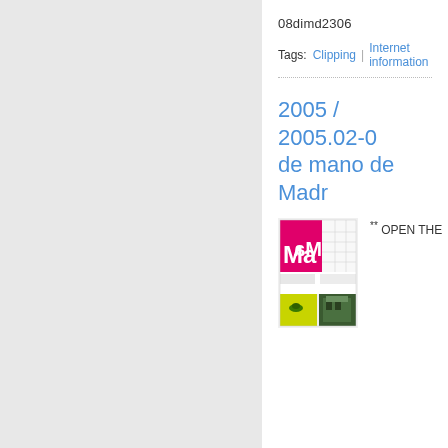08dimd2306
Tags:  Clipping  |  Internet information
2005 / 2005.02-0... de mano de Madr...
[Figure (illustration): Thumbnail image of a magazine or publication cover showing 'Ma' logo in pink/magenta, with grid layout sections including photos of a green insect and a building facade]
** OPEN THE